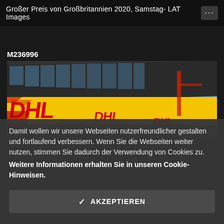Großer Preis von Großbritannien 2020, Samstag- LAT Images
M236996
[Figure (photo): Photo of a DHL-branded building/structure at a racing circuit, showing yellow DHL signage with red letters on what appears to be a paddock or pit lane building, with blue sky and clouds in the background.]
Damit wollen wir unsere Webseiten nutzerfreundlicher gestalten und fortlaufend verbessern. Wenn Sie die Webseiten weiter nutzen, stimmen Sie dadurch der Verwendung von Cookies zu. Weitere Informationen erhalten Sie in unseren Cookie-Hinweisen.
✓  AKZEPTIEREN